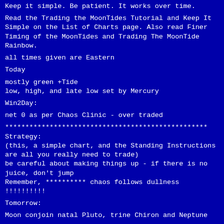Keep it simple. Be patient. It works over time.
Read the Trading the MoonTides Tutorial and Keep It Simple on the List of Charts page. Also read Finer Timing of the MoonTides and Trading The MoonTide Rainbow.
all times given are Eastern
Today
mostly green +Tide
low, high, and late low set by Mercury
Win2Day:
net 0 as per Chaos Clinic - over traded
**************************************************
Strategy:
(this, a simple chart, and the Standing Instructions
are all you really need to trade)
be careful about making things up - if there is no juice, don't jump
Remember, ********** chaos follows dullness !!!!!!!!!!
Tomorrow:
Moon conjoin natal Pluto, trine Chiron and Neptune